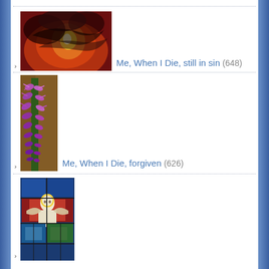[Figure (photo): Dark red and orange fire/smoke image thumbnail]
Me, When I Die, still in sin (648)
[Figure (photo): Purple flower (lavender/salvia) tall spike thumbnail]
Me, When I Die, forgiven (626)
[Figure (photo): Stained glass window with angel figure thumbnail]